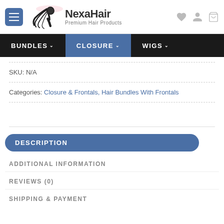[Figure (logo): NexaHair logo with woman silhouette and flowing hair, text 'NexaHair Premium Hair Products']
BUNDLES  CLOSURE  WIGS
SKU: N/A
Categories: Closure & Frontals, Hair Bundles With Frontals
DESCRIPTION
ADDITIONAL INFORMATION
REVIEWS (0)
SHIPPING & PAYMENT